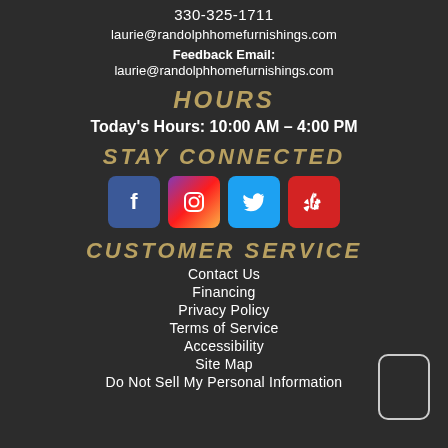330-325-1711
laurie@randolphhomefurnishings.com
Feedback Email: laurie@randolphhomefurnishings.com
HOURS
Today's Hours: 10:00 AM – 4:00 PM
STAY CONNECTED
[Figure (other): Social media icons: Facebook, Instagram, Twitter, Yelp]
CUSTOMER SERVICE
Contact Us
Financing
Privacy Policy
Terms of Service
Accessibility
Site Map
Do Not Sell My Personal Information